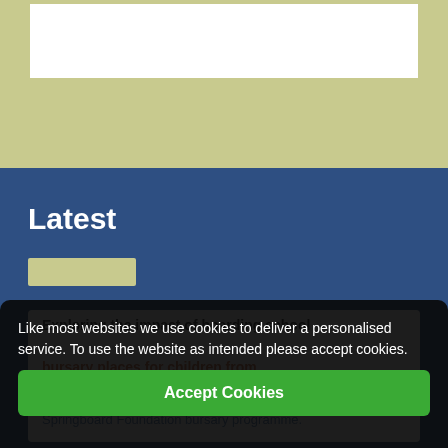[Figure (other): Olive/khaki colored top banner area with a white rectangular box inset at top]
Latest
[Figure (other): Olive/khaki colored rectangular button placeholder]
Exploring the impact of boarding school bursary places for children from vulnerable and disadvantaged backgrounds
Impact analysis of Royal National Children's Springboard Foundation bursary programme.
Like most websites we use cookies to deliver a personalised service. To use the website as intended please accept cookies.
Accept Cookies